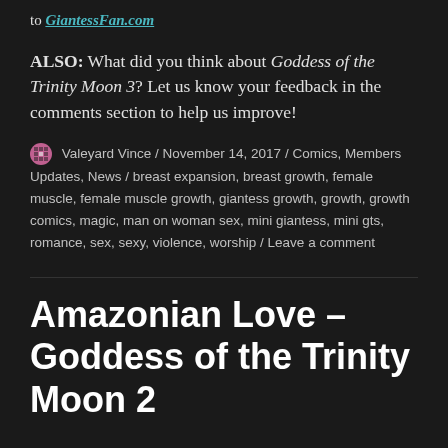to GiantessFan.com
ALSO: What did you think about Goddess of the Trinity Moon 3? Let us know your feedback in the comments section to help us improve!
Valeyard Vince / November 14, 2017 / Comics, Members Updates, News / breast expansion, breast growth, female muscle, female muscle growth, giantess growth, growth, growth comics, magic, man on woman sex, mini giantess, mini gts, romance, sex, sexy, violence, worship / Leave a comment
Amazonian Love – Goddess of the Trinity Moon 2